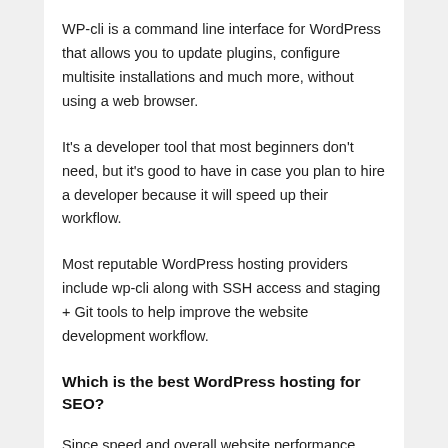WP-cli is a command line interface for WordPress that allows you to update plugins, configure multisite installations and much more, without using a web browser.
It's a developer tool that most beginners don't need, but it's good to have in case you plan to hire a developer because it will speed up their workflow.
Most reputable WordPress hosting providers include wp-cli along with SSH access and staging + Git tools to help improve the website development workflow.
Which is the best WordPress hosting for SEO?
Since speed and overall website performance plays an important role in SEO rankings, we believe that